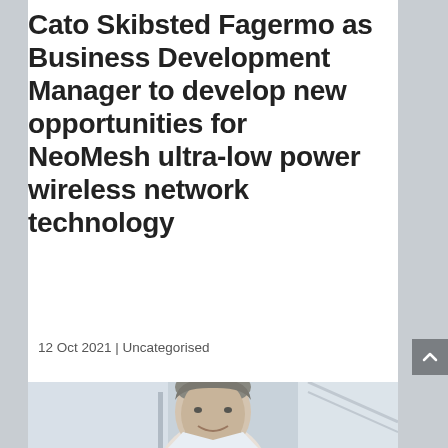Cato Skibsted Fagermo as Business Development Manager to develop new opportunities for NeoMesh ultra-low power wireless network technology
12 Oct 2021 | Uncategorised
[Figure (photo): Portrait photo of a man (Cato Skibsted Fagermo) smiling, with short grey-brown hair and a beard, wearing professional attire, in an office or indoor setting.]